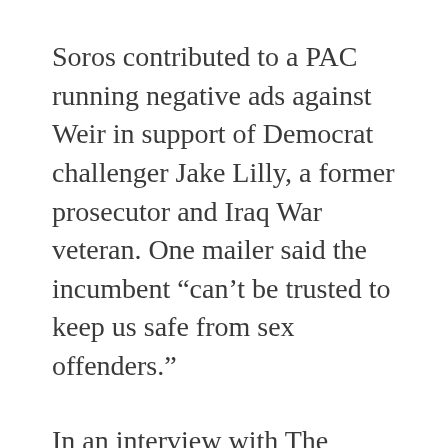Soros contributed to a PAC running negative ads against Weir in support of Democrat challenger Jake Lilly, a former prosecutor and Iraq War veteran. One mailer said the incumbent “can’t be trusted to keep us safe from sex offenders.”
In an interview with The Daily Signal, Weir said he overcame Soros’ influence by emphasizing his 37 years of criminal justice experience. The record, he said, includes a longtime dedication to reform—the cause that Soros says he is